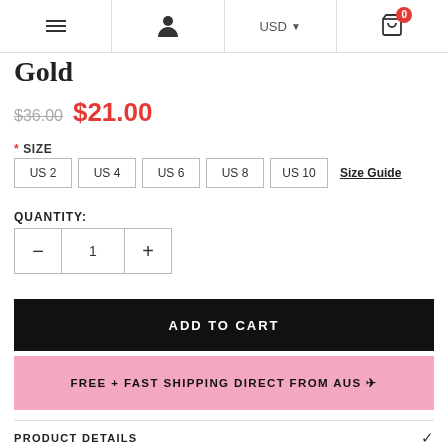Navigation bar with menu, user, USD currency selector, and cart (0 items)
Gold
$36.00  $21.00
* SIZE
US 2
US 4
US 6
US 8
US 10
Size Guide
QUANTITY:
1
ADD TO CART
FREE + FAST SHIPPING DIRECT FROM AUS ✈
PRODUCT DETAILS